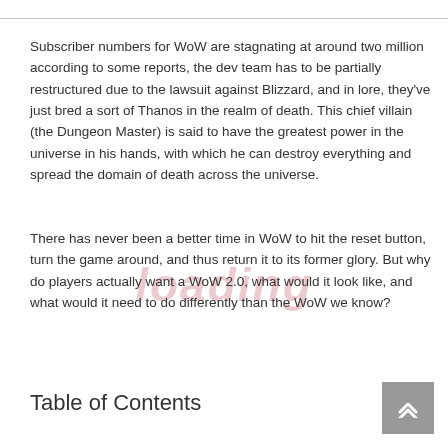Subscriber numbers for WoW are stagnating at around two million according to some reports, the dev team has to be partially restructured due to the lawsuit against Blizzard, and in lore, they've just bred a sort of Thanos in the realm of death. This chief villain (the Dungeon Master) is said to have the greatest power in the universe in his hands, with which he can destroy everything and spread the domain of death across the universe.
There has never been a better time in WoW to hit the reset button, turn the game around, and thus return it to its former glory. But why do players actually want a WoW 2.0, what would it look like, and what would it need to do differently than the WoW we know?
Table of Contents